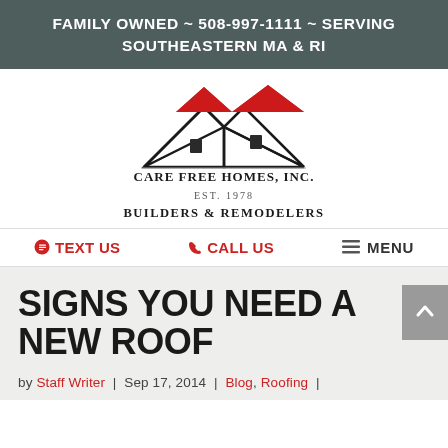FAMILY OWNED ~ 508-997-1111 ~ SERVING SOUTHEASTERN MA & RI
[Figure (logo): Care Free Homes, Inc. logo with house/roof graphic, EST. 1978, Builders & Remodelers]
TEXT US  |  CALL US  |  MENU
SIGNS YOU NEED A NEW ROOF
by Staff Writer | Sep 17, 2014 | Blog, Roofing |